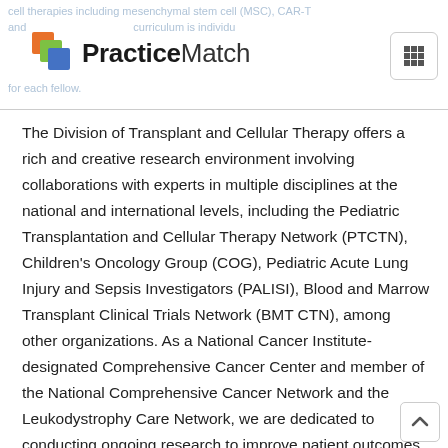cell therapies including mesenchymal stem cell (MSC), CAR-T and ... curriculum is individualized for each fellow.
[Figure (logo): PracticeMatch logo with colorful overlapping square icons (orange, green, blue) and the text PracticeMatch in bold/regular sans-serif]
The Division of Transplant and Cellular Therapy offers a rich and creative research environment involving collaborations with experts in multiple disciplines at the national and international levels, including the Pediatric Transplantation and Cellular Therapy Network (PTCTN), Children's Oncology Group (COG), Pediatric Acute Lung Injury and Sepsis Investigators (PALISI), Blood and Marrow Transplant Clinical Trials Network (BMT CTN), among other organizations. As a National Cancer Institute-designated Comprehensive Cancer Center and member of the National Comprehensive Cancer Network and the Leukodystrophy Care Network, we are dedicated to conducting ongoing research to improve patient outcomes.